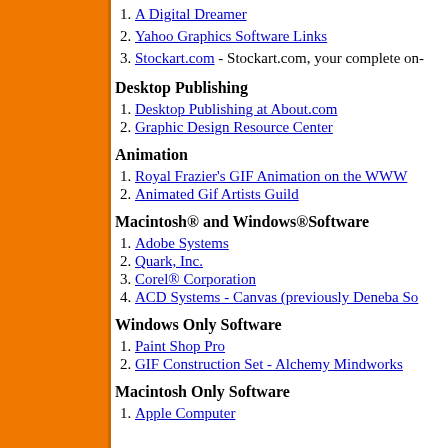1. A Digital Dreamer
2. Yahoo Graphics Software Links
3. Stockart.com - Stockart.com, your complete on-
Desktop Publishing
1. Desktop Publishing at About.com
2. Graphic Design Resource Center
Animation
1. Royal Frazier's GIF Animation on the WWW
2. Animated Gif Artists Guild
Macintosh® and Windows®Software
1. Adobe Systems
2. Quark, Inc.
3. Corel® Corporation
4. ACD Systems - Canvas (previously Deneba So
Windows Only Software
1. Paint Shop Pro
2. GIF Construction Set - Alchemy Mindworks
Macintosh Only Software
1. Apple Computer